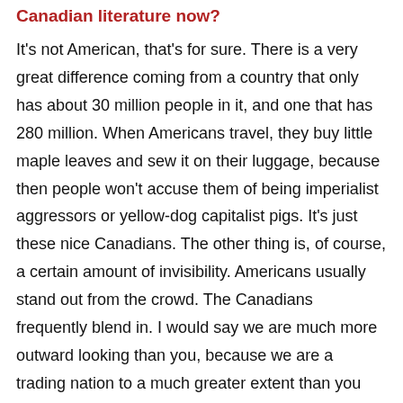Canadian literature now?
It's not American, that's for sure. There is a very great difference coming from a country that only has about 30 million people in it, and one that has 280 million. When Americans travel, they buy little maple leaves and sew it on their luggage, because then people won't accuse them of being imperialist aggressors or yellow-dog capitalist pigs. It's just these nice Canadians. The other thing is, of course, a certain amount of invisibility. Americans usually stand out from the crowd. The Canadians frequently blend in. I would say we are much more outward looking than you, because we are a trading nation to a much greater extent than you are. If you look at the total of GNP that comes from trading with other countries, a lot more of ours does than